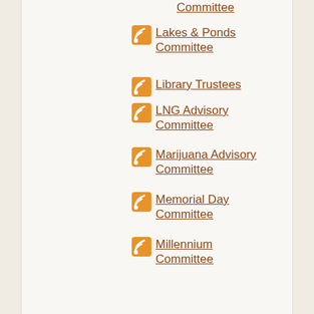Committee
Lakes & Ponds Committee
Library Trustees
LNG Advisory Committee
Marijuana Advisory Committee
Memorial Day Committee
Millennium Committee
Municipal Building Committee
Old Home Day Committee
Open Space Committee
Personnel Board
Planning Board
Public Hearings
Public Safety Building Committee
Recreation Commission